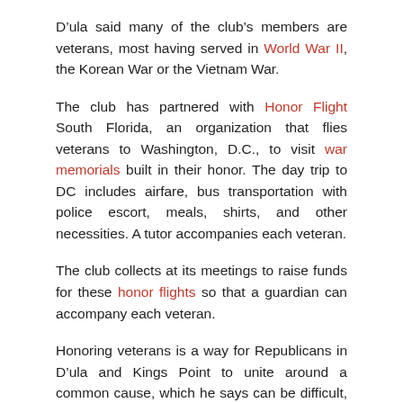D’ula said many of the club’s members are veterans, most having served in World War II, the Korean War or the Vietnam War.
The club has partnered with Honor Flight South Florida, an organization that flies veterans to Washington, D.C., to visit war memorials built in their honor. The day trip to DC includes airfare, bus transportation with police escort, meals, shirts, and other necessities. A tutor accompanies each veteran.
The club collects at its meetings to raise funds for these honor flights so that a guardian can accompany each veteran.
Honoring veterans is a way for Republicans in D’ula and Kings Point to unite around a common cause, which he says can be difficult, especially since there are ideological divisions. within the Republican Party.
That’s why D’ula allows members to speak their minds at club meetings. When the members walk into the meeting room, D’ula